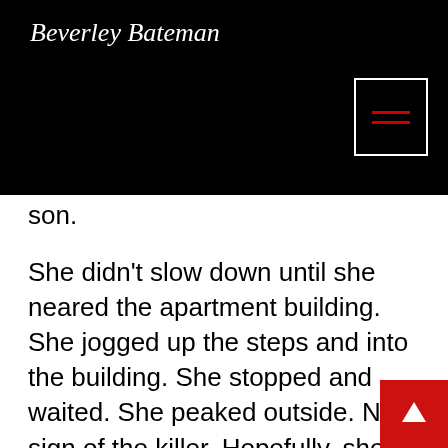Beverley Bateman
[Figure (other): Navigation menu button with two red horizontal lines inside a white rectangle border on black background]
son.
She didn't slow down until she neared the apartment building. She jogged up the steps and into the building. She stopped and waited. She peaked outside. No sign of the killer. Hopefully, she'd have a little time to work out a plan.
The youngest of four, her family usually helped her solve her problems, even helped her make decisions. Until she was thirteen and was left home alone with her mother, they had done everything for her. She had finally realized she